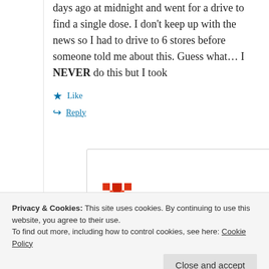days ago at midnight and went for a drive to find a single dose. I don't keep up with the news so I had to drive to 6 stores before someone told me about this. Guess what… I NEVER do this but I took
Like
Reply
tony
excedrine!
Privacy & Cookies: This site uses cookies. By continuing to use this website, you agree to their use. To find out more, including how to control cookies, see here: Cookie Policy
Close and accept